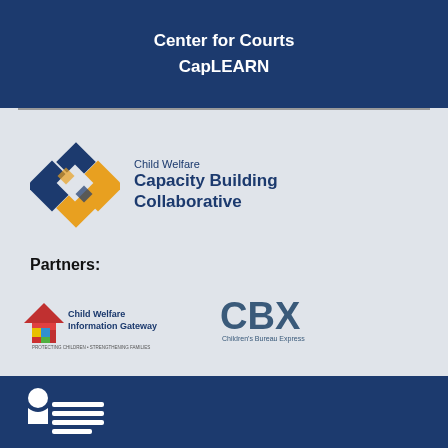Center for Courts
CapLEARN
[Figure (logo): Child Welfare Capacity Building Collaborative logo — diamond shapes in blue and orange with text]
Partners:
[Figure (logo): Child Welfare Information Gateway logo — house icon with colorful blocks]
[Figure (logo): CBX Children's Bureau Express logo]
[Figure (logo): Children's Bureau / HHS logo in white at bottom footer]